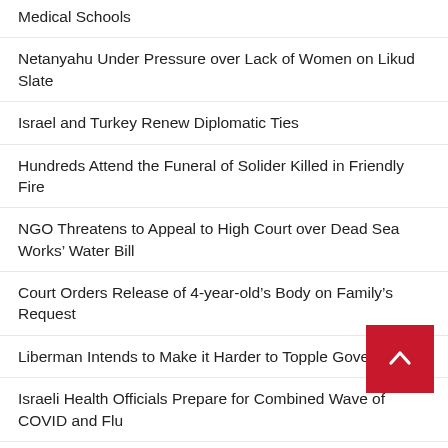Medical Schools
Netanyahu Under Pressure over Lack of Women on Likud Slate
Israel and Turkey Renew Diplomatic Ties
Hundreds Attend the Funeral of Solider Killed in Friendly Fire
NGO Threatens to Appeal to High Court over Dead Sea Works’ Water Bill
Court Orders Release of 4-year-old’s Body on Family’s Request
Liberman Intends to Make it Harder to Topple Government
Israeli Health Officials Prepare for Combined Wave of COVID and Flu
Plan of Turning Historic Arab Village into Luxury Hou[sing] Shelved
Sales of New Homes Falls in Israel, as Mortgage-Borrowing